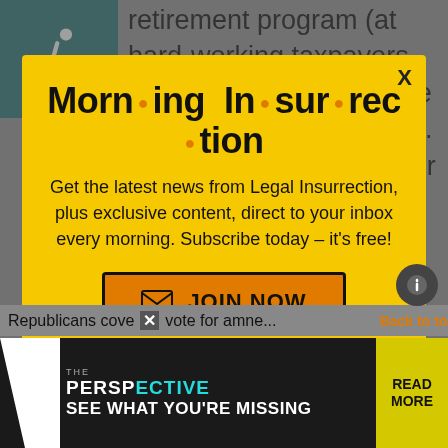retirement program (at hard-working taxpayers expense) for folks who've bought into the 'program'. Just vote at least once for the Ocrat that promises you the most free stuff. Big whoop if
[Figure (screenshot): Modal popup with yellow background for 'Morning Insurrection' newsletter signup from Legal Insurrection, with orange JOIN NOW button]
Republicans cove... vote for amne...
[Figure (screenshot): Ad banner for 'The Perspective' newsletter with teal and yellow colors, text 'SEE WHAT YOU'RE MISSING' and 'READ MORE' button]